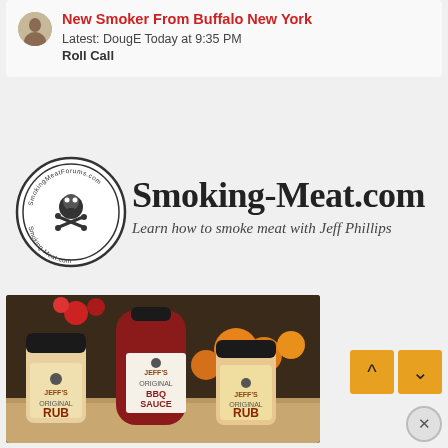New Smoker From Buffalo New York
Latest: DougE Today at 9:35 PM
Roll Call
[Figure (logo): Smoking-Meat.com logo with circular badge and text: Learn how to smoke meat with Jeff Phillips]
[Figure (photo): Product photo showing Jeff's BBQ Rub shakers and BBQ Sauce bottle on a wooden surface with fall decorations in background]
[Figure (other): Navigation up/down arrow buttons in orange]